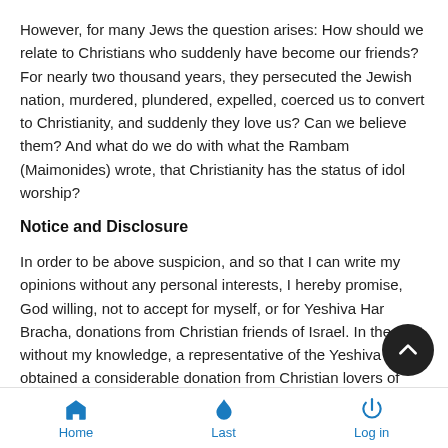However, for many Jews the question arises: How should we relate to Christians who suddenly have become our friends? For nearly two thousand years, they persecuted the Jewish nation, murdered, plundered, expelled, coerced us to convert to Christianity, and suddenly they love us? Can we believe them? And what do we do with what the Rambam (Maimonides) wrote, that Christianity has the status of idol worship?
Notice and Disclosure
In order to be above suspicion, and so that I can write my opinions without any personal interests, I hereby promise, God willing, not to accept for myself, or for Yeshiva Har Bracha, donations from Christian friends of Israel. In the past, without my knowledge, a representative of the Yeshiva obtained a considerable donation from Christian lovers of Israel. After had already agreed to donate, it would not have been polite to
Home  Last  Log in